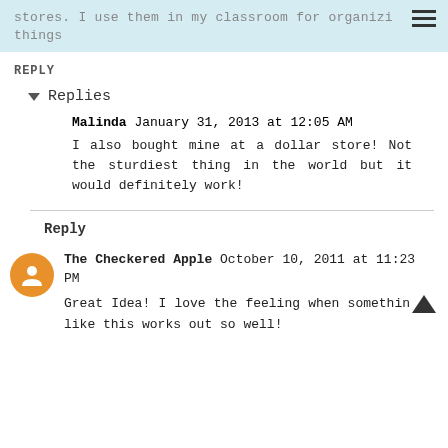stores. I use them in my classroom for organiz things
REPLY
Replies
Malinda January 31, 2013 at 12:05 AM
I also bought mine at a dollar store! Not the sturdiest thing in the world but it would definitely work!
Reply
The Checkered Apple October 10, 2011 at 11:23 PM
Great Idea! I love the feeling when something like this works out so well!